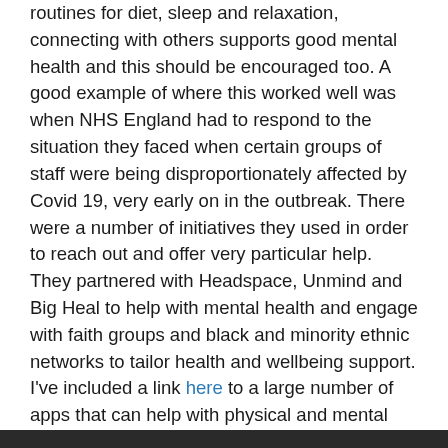routines for diet, sleep and relaxation, connecting with others supports good mental health and this should be encouraged too. A good example of where this worked well was when NHS England had to respond to the situation they faced when certain groups of staff were being disproportionately affected by Covid 19, very early on in the outbreak.  There were a number of initiatives they used in order to reach out and offer very particular help. They partnered with Headspace, Unmind and Big Heal to help with mental health and engage with faith groups and black and minority ethnic networks to tailor health and wellbeing support. I've included a link here to a large number of apps that can help with physical and mental health, which you might like to use.
And finally, we must remember, too, that all these issues affect managers and business owners and leaders. Recent figures released by the CIPD, the Chartered Institute of Personnel and Development and Simply